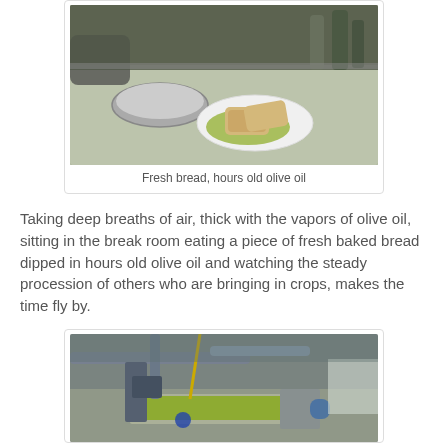[Figure (photo): A plate with two slices of fresh bread dipped in olive oil on a table with a metal pan and bottles of olive oil in the background.]
Fresh bread, hours old olive oil
Taking deep breaths of air, thick with the vapors of olive oil, sitting in the break room eating a piece of fresh baked bread dipped in hours old olive oil and watching the steady procession of others who are bringing in crops, makes the time fly by.
[Figure (photo): Industrial olive oil processing machinery with green olive oil flowing through metal channels and pipes.]